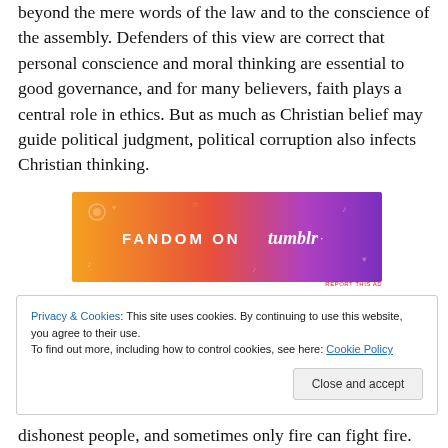beyond the mere words of the law and to the conscience of the assembly. Defenders of this view are correct that personal conscience and moral thinking are essential to good governance, and for many believers, faith plays a central role in ethics. But as much as Christian belief may guide political judgment, political corruption also infects Christian thinking.
[Figure (illustration): Fandom on Tumblr advertisement banner with orange-to-purple gradient background and decorative musical/fandom icons. White bold text reads 'FANDOM ON tumblr'. Small red text 'REPORT THIS AD' at bottom right.]
Privacy & Cookies: This site uses cookies. By continuing to use this website, you agree to their use.
To find out more, including how to control cookies, see here: Cookie Policy
Close and accept
dishonest people, and sometimes only fire can fight fire.